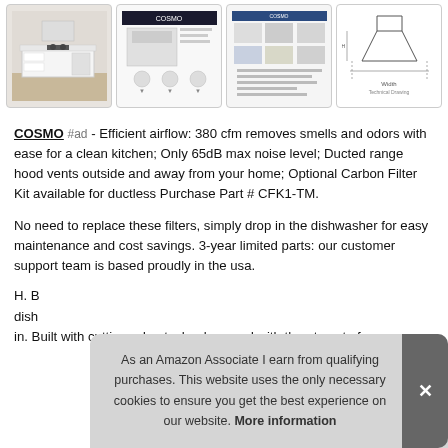[Figure (photo): Row of four product thumbnail images for a range hood. First shows kitchen with white cabinetry and island, second shows range hood product with features diagram, third shows a lifestyle/spec page collage, fourth shows a line drawing schematic of the hood.]
COSMO #ad - Efficient airflow: 380 cfm removes smells and odors with ease for a clean kitchen; Only 65dB max noise level; Ducted range hood vents outside and away from your home; Optional Carbon Filter Kit available for ductless Purchase Part # CFK1-TM.
No need to replace these filters, simply drop in the dishwasher for easy maintenance and cost savings. 3-year limited parts: our customer support team is based proudly in the usa.
H. B dishwasher. in. Built with cutting-edge technology and with the utmost of
As an Amazon Associate I earn from qualifying purchases. This website uses the only necessary cookies to ensure you get the best experience on our website. More information